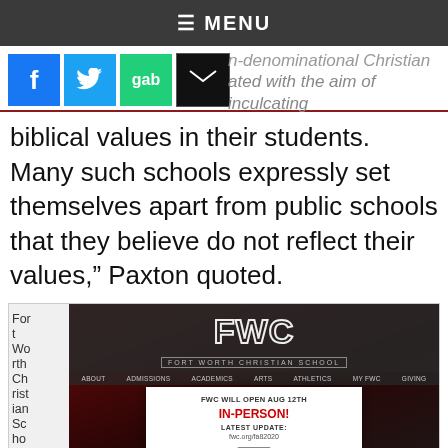≡ MENU
[Figure (screenshot): Social media share icons: Facebook, Twitter, Gab, Email, alongside partially visible text about non-denominational Christian school]
biblical values in their students. Many such schools expressly set themselves apart from public schools that they believe do not reflect their values," Paxton quoted.
[Figure (screenshot): Fort Worth Christian School website screenshot showing FWC logo, navigation menu (ABOUT, ADMISSIONS, ACADEMICS, ARTS, ATHLETICS, MY FWC, GIVING), a popup modal stating 'FWC WILL OPEN AUG 12TH IN-PERSON! LATEST UPDATE: fwc.org/fa82020' with an OK button, and a red football background image]
Eva
ngel